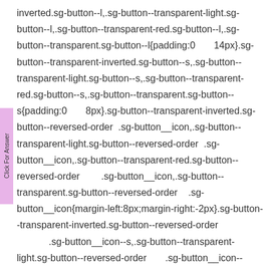inverted.sg-button--l,.sg-button--transparent-light.sg-button--l,.sg-button--transparent-red.sg-button--l,.sg-button--transparent.sg-button--l{padding:0 14px}.sg-button--transparent-inverted.sg-button--s,.sg-button--transparent-light.sg-button--s,.sg-button--transparent-red.sg-button--s,.sg-button--transparent.sg-button--s{padding:0 8px}.sg-button--transparent-inverted.sg-button--reversed-order .sg-button__icon,.sg-button--transparent-light.sg-button--reversed-order .sg-button__icon,.sg-button--transparent-red.sg-button--reversed-order .sg-button__icon,.sg-button--transparent.sg-button--reversed-order .sg-button__icon{margin-left:8px;margin-right:-2px}.sg-button--transparent-inverted.sg-button--reversed-order .sg-button__icon--s,.sg-button--transparent-light.sg-button--reversed-order .sg-button__icon--s,.sg-button--transparent-red.sg-button--reversed-order .sg-button__icon--s,.sg-button--transparent.sg-button--reversed-order .sg-button__icon--s,.sg-button--transparent.sg-button--reversed-